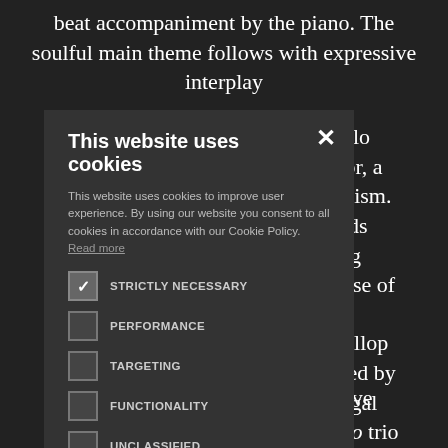beat accompaniment by the piano. The soulful main theme follows with expressive interplay
[Figure (screenshot): Cookie consent modal dialog box with dark background, containing title 'This website uses cookies', body text about cookie usage, checkboxes for STRICTLY NECESSARY (checked), PERFORMANCE, TARGETING, FUNCTIONALITY, UNCLASSIFIED, and buttons ACCEPT ALL and DECLINE ALL, plus SHOW DETAILS link.]
piano solo G major, a as lyricism. me leads opening t glimpse of
razy gallop followed by cted fugal pressivo trio eturn. Then to kick off ent is going t a folk-like ndo theme
with a series of episodes that give increasing